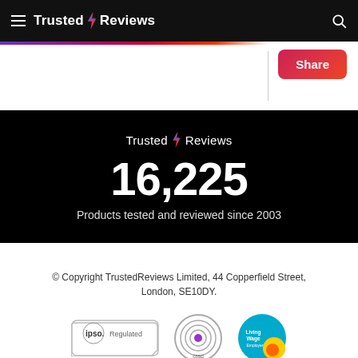Trusted Reviews
[Figure (logo): Trusted Reviews logo with lightning bolt, centered in black banner, with large number 16,225 and text 'Products tested and reviewed since 2003']
© Copyright TrustedReviews Limited, 44 Copperfield Street, London, SE10DY.
[Figure (logo): IPSO Regulated badge, CRAG logo, and Living Wage Employer logo side by side]